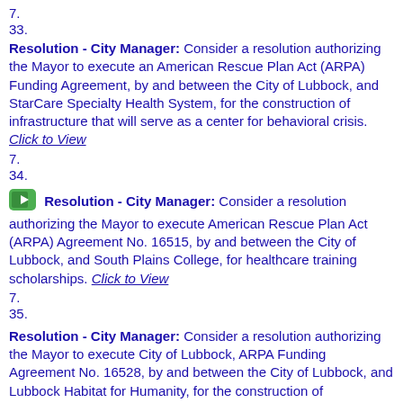7.
33.
Resolution - City Manager: Consider a resolution authorizing the Mayor to execute an American Rescue Plan Act (ARPA) Funding Agreement, by and between the City of Lubbock, and StarCare Specialty Health System, for the construction of infrastructure that will serve as a center for behavioral crisis. Click to View
7.
34.
Resolution - City Manager: Consider a resolution authorizing the Mayor to execute American Rescue Plan Act (ARPA) Agreement No. 16515, by and between the City of Lubbock, and South Plains College, for healthcare training scholarships. Click to View
7.
35.
Resolution - City Manager: Consider a resolution authorizing the Mayor to execute City of Lubbock, ARPA Funding Agreement No. 16528, by and between the City of Lubbock, and Lubbock Habitat for Humanity, for the construction of infrastructure to